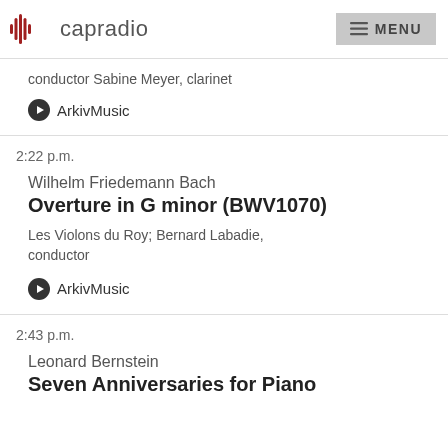capradio | MENU
conductor Sabine Meyer, clarinet
ArkivMusic
2:22 p.m.
Wilhelm Friedemann Bach
Overture in G minor (BWV1070)
Les Violons du Roy; Bernard Labadie, conductor
ArkivMusic
2:43 p.m.
Leonard Bernstein
Seven Anniversaries for Piano